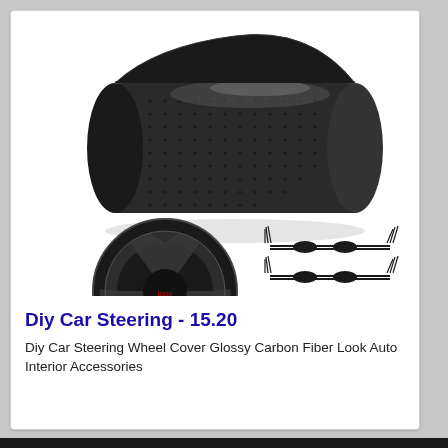[Figure (photo): Product photo showing a black perforated leather steering wheel cover rolled into a cylinder (top), a black steering wheel (bottom left), and two black lacing cords (bottom right)]
Diy Car Steering - 15.20
Diy Car Steering Wheel Cover Glossy Carbon Fiber Look Auto Interior Accessories